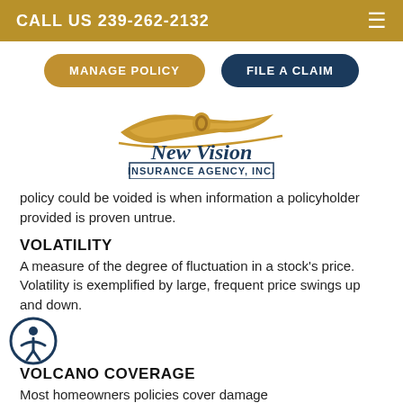CALL US 239-262-2132
[Figure (logo): New Vision Insurance Agency, Inc. logo with gold swoosh design and blue script text]
policy could be voided is when information a policyholder provided is proven untrue.
VOLATILITY
A measure of the degree of fluctuation in a stock's price. Volatility is exemplified by large, frequent price swings up and down.
VOLCANO COVERAGE
Most homeowners policies cover damage